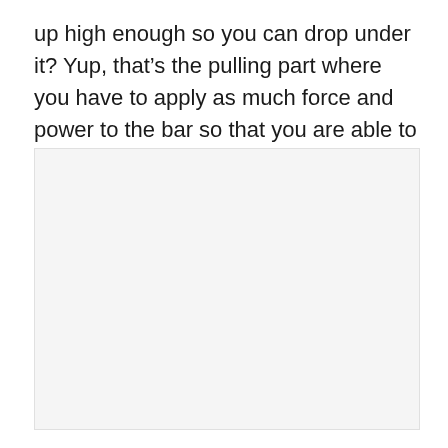up high enough so you can drop under it? Yup, that’s the pulling part where you have to apply as much force and power to the bar so that you are able to receive it.
[Figure (photo): A light gray rectangular placeholder image area occupying the lower portion of the page.]